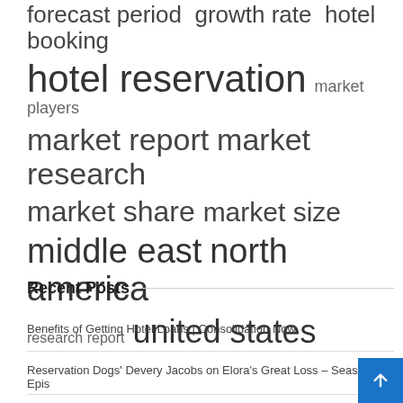forecast period  growth rate  hotel booking
hotel reservation  market players
market report  market research
market share  market size
middle east  north america
research report  united states
Recent Posts
Benefits of Getting Hotel Loans | Consolidation Now
Reservation Dogs' Devery Jacobs on Elora's Great Loss – Season 2, Epis